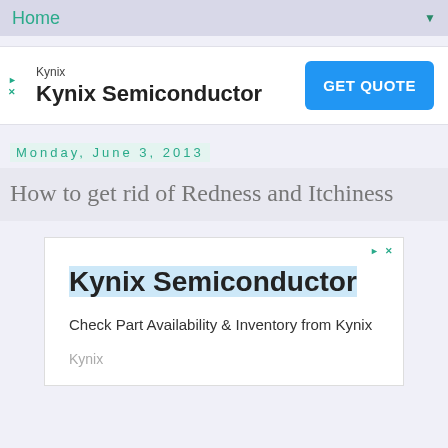Home
[Figure (screenshot): Kynix Semiconductor advertisement banner with GET QUOTE button]
Monday, June 3, 2013
How to get rid of Redness and Itchiness
[Figure (screenshot): Kynix Semiconductor ad box with text: Check Part Availability & Inventory from Kynix]